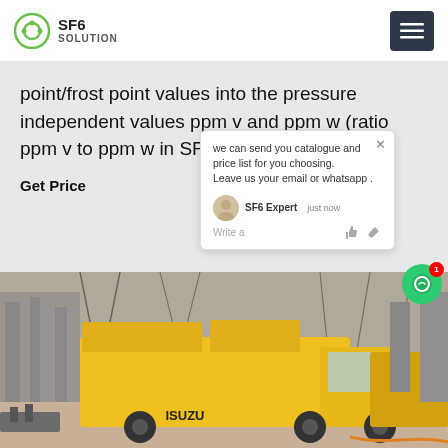SF6 Solution
point/frost point values into the pressure independent values ppm v and ppm w (ratio ppm v to ppm w in SF 6: ppm v = ppm w
Get Price
we can send you catalogue and price list for you choosing.
Leave us your email or whatsapp .
SF6 Expert   just now
Write a
[Figure (photo): Yellow ISUZU truck at an electrical substation with power transmission infrastructure in the background]